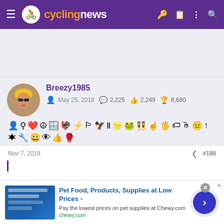cyclingnews
[Figure (other): Blank advertisement placeholder area (light gray)]
Breezy1985 — May 25, 2018 — 2,225 messages — 2,249 likes — 8,680 trophy points
[Figure (other): Row of achievement/badge icons for user Breezy1985]
Nov 7, 2019  #198
[Figure (other): Advertisement: Pet Food, Products, Supplies at Low Prices - chewy.com]